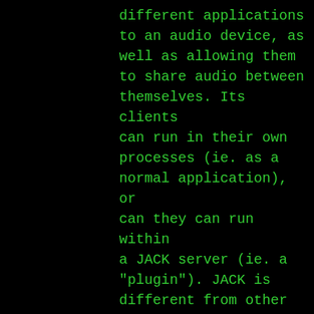different applications to an audio device, as well as allowing them to share audio between themselves. Its clients can run in their own processes (ie. as a normal application), or can they can run within a JACK server (ie. a "plugin"). JACK is different from other audio server efforts in that it has been designed from the ground up to be